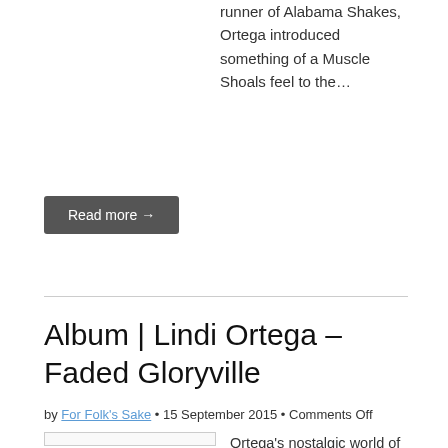runner of Alabama Shakes, Ortega introduced something of a Muscle Shoals feel to the…
Read more →
Album | Lindi Ortega – Faded Gloryville
by For Folk's Sake • 15 September 2015 • Comments Off
[Figure (photo): Album cover image placeholder]
Ortega's nostalgic world of 'Faded Gloryville' looks back over her shoulder and contemplates what went before. Her fourth long player for Last Gang records reeks of class and is the sound of an artist at total peace with herself. It…